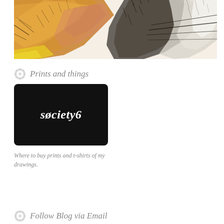[Figure (illustration): Close-up watercolor and ink illustration of an animal (likely a hare or cat), showing fur textures in orange, black, and white/cream tones with expressive line work. Only the upper portion of the animal's head/face is visible.]
Prints and things
[Figure (logo): Society6 logo — white italic script text reading 'søciety6' on a black rounded-rectangle background card.]
Where to buy prints and t-shirts of my drawings.
Follow Blog via Email